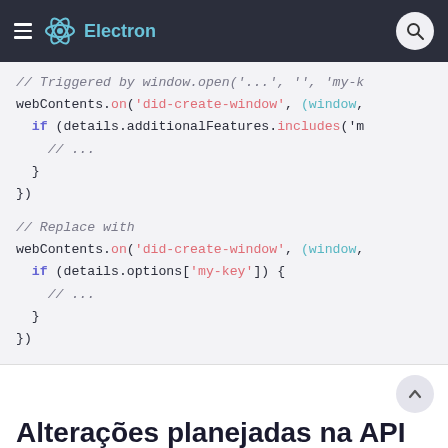Electron
[Figure (screenshot): Code block showing JavaScript code for Electron API. First block: comment '// Triggered by window.open("...", "", "my-k', then webContents.on('did-create-window', (window, ...) with if (details.additionalFeatures.includes('m') and // ... and closing braces. Second block: comment '// Replace with' then webContents.on('did-create-window', (window, ...) with if (details.options['my-key']) { and // ... and closing braces.]
Alterações planejadas na API